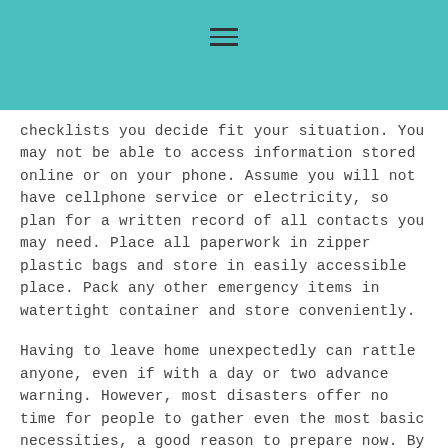≡
checklists you decide fit your situation. You may not be able to access information stored online or on your phone. Assume you will not have cellphone service or electricity, so plan for a written record of all contacts you may need. Place all paperwork in zipper plastic bags and store in easily accessible place.  Pack any other emergency items in watertight container and store conveniently.
Having to leave home unexpectedly can rattle anyone, even if with a day or two advance warning.  However, most disasters offer no time for people to gather even the most basic necessities, a good reason to prepare now.  By planning ahead, you will be able to use your time and energy wisely, making things a little easier to handle successfully.   If this information helps even one family, it will be well